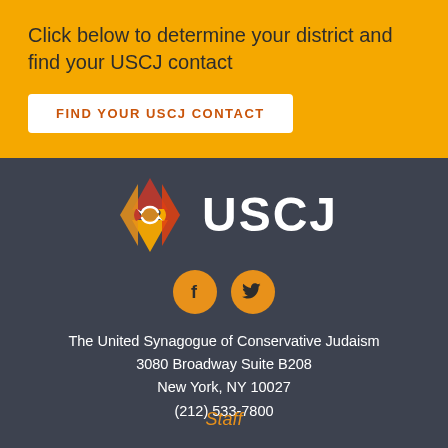Click below to determine your district and find your USCJ contact
FIND YOUR USCJ CONTACT
[Figure (logo): USCJ logo with Star of David in orange/red/yellow and USCJ text in white]
[Figure (illustration): Facebook and Twitter social media icons as orange circles]
The United Synagogue of Conservative Judaism
3080 Broadway Suite B208
New York, NY 10027
(212) 533-7800
Staff